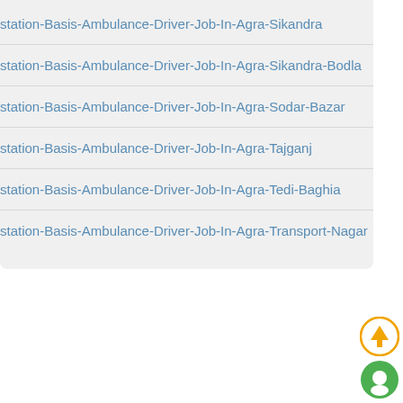station-Basis-Ambulance-Driver-Job-In-Agra-Sikandra
station-Basis-Ambulance-Driver-Job-In-Agra-Sikandra-Bodla
station-Basis-Ambulance-Driver-Job-In-Agra-Sodar-Bazar
station-Basis-Ambulance-Driver-Job-In-Agra-Tajganj
station-Basis-Ambulance-Driver-Job-In-Agra-Tedi-Baghia
station-Basis-Ambulance-Driver-Job-In-Agra-Transport-Nagar
[Figure (other): Scroll to top button - orange circle with upward arrow]
[Figure (other): Chat/support button - green circle with chat icon]